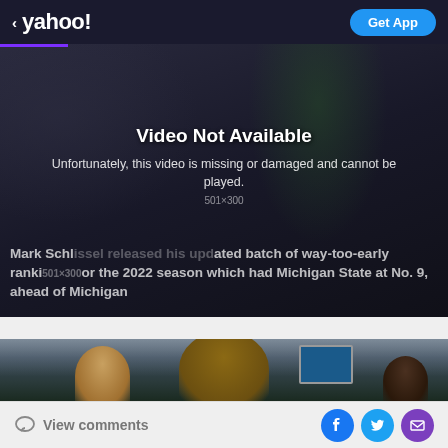< yahoo! | Get App
[Figure (screenshot): Video player showing 'Video Not Available' error over a dark background with a football player in a green jersey (number 8). Overlaid text reads: 'Mark Schlissel released his updated batch of way-too-early rankings for the 2022 season which had Michigan State at No. 9, ahead of Michigan'. Resolution watermark: 501x300.]
[Figure (photo): Photo of a smiling man at a football stadium with a large crowd in the background and a TV/video screen visible in the upper right.]
View comments
Social sharing icons: Facebook, Twitter, Mail